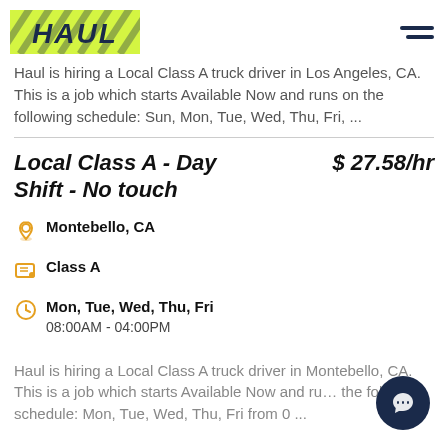[Figure (logo): Haul company logo with yellow/lime background and diagonal stripes, dark navy bold italic text 'HAUL']
Haul is hiring a Local Class A truck driver in Los Angeles, CA. This is a job which starts Available Now and runs on the following schedule: Sun, Mon, Tue, Wed, Thu, Fri, ...
Local Class A - Day Shift - No touch   $27.58/hr
Montebello, CA
Class A
Mon, Tue, Wed, Thu, Fri
08:00AM - 04:00PM
Haul is hiring a Local Class A truck driver in Montebello, CA. This is a job which starts Available Now and runs on the following schedule: Mon, Tue, Wed, Thu, Fri from 0...